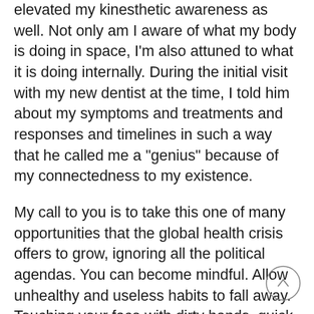elevated my kinesthetic awareness as well. Not only am I aware of what my body is doing in space, I'm also attuned to what it is doing internally. During the initial visit with my new dentist at the time, I told him about my symptoms and treatments and responses and timelines in such a way that he called me a "genius" because of my connectedness to my existence.
My call to you is to take this one of many opportunities that the global health crisis offers to grow, ignoring all the political agendas. You can become mindful. Allow unhealthy and useless habits to fall away. Touching your face with dirty hands, quick wipe downs, no wipe down, saving time by not washing hands, sneezing and coughing openly are automatic behaviors that need to be laid to rest now and